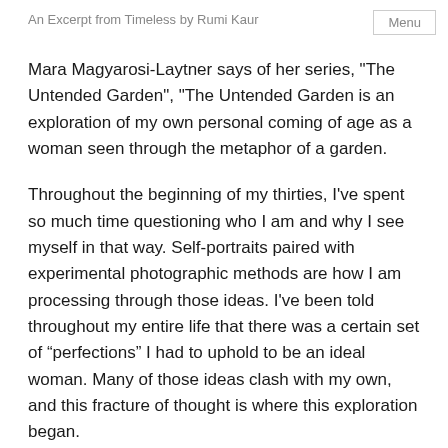An Excerpt from Timeless by Rumi Kaur
Mara Magyarosi-Laytner says of her series, "The Untended Garden", "The Untended Garden is an exploration of my own personal coming of age as a woman seen through the metaphor of a garden.
Throughout the beginning of my thirties, I've spent so much time questioning who I am and why I see myself in that way. Self-portraits paired with experimental photographic methods are how I am processing through those ideas. I've been told throughout my entire life that there was a certain set of “perfections” I had to uphold to be an ideal woman. Many of those ideas clash with my own, and this fracture of thought is where this exploration began.
My work emphasizes texture both through the recording of the initial photograph and the rerecording of the materiality of the image transfer in the print. Skin, hair, petals, and paper can